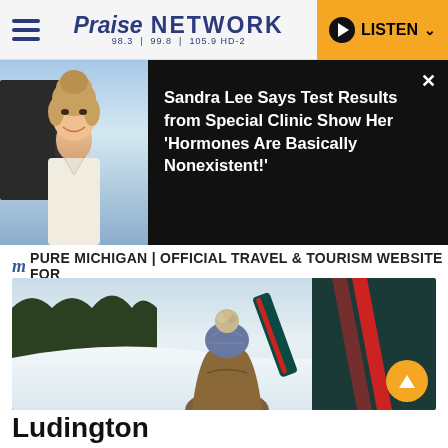Praise NETWORK 98.3 | 99.8 | 105.9 HD-2
[Figure (photo): Woman with blonde hair pulled up, smiling, wearing white, outdoors]
Sandra Lee Says Test Results from Special Clinic Show Her 'Hormones Are Basically Nonexistent!'
PURE MICHIGAN | OFFICIAL TRAVEL & TOURISM WEBSITE FOR
[Figure (photo): Person from behind wearing tan coat and knit pom-pom hat, holding a snowboard, snowy winter landscape with sunlight through trees]
Ludington